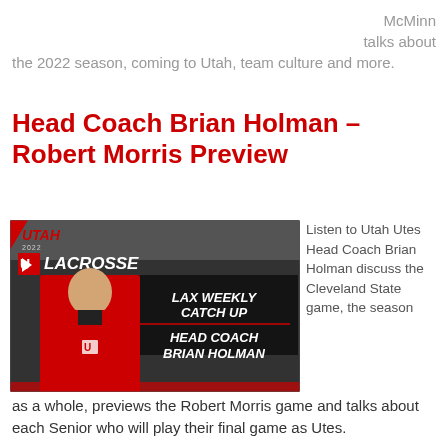McMinn talks about the 2022 season, coming to Utah, team culture and more.
Head Coach Brian Holman – Robert Morris Preview
[Figure (photo): Utah Lacrosse Lax Weekly Catch Up promotional graphic featuring Head Coach Brian Holman in red jacket, with dark background and bold white text.]
Listen to Utah Utes Head Coach Brian Holman discuss the Cleveland State game, the season as a whole, previews the Robert Morris game and talks about each Senior who will play their final game as Utes.